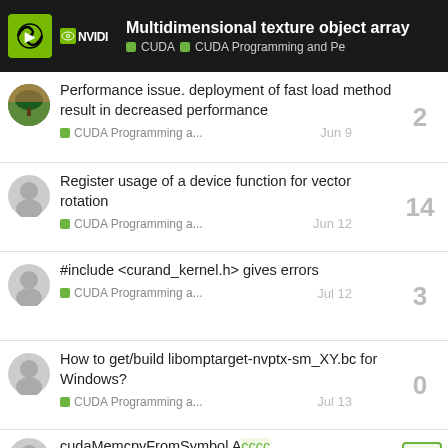Multidimensional texture object array | CUDA | CUDA Programming and Pe
Performance issue. deployment of fast load method result in decreased performance
CUDA Programming a... Jun 9
replies: 2
Register usage of a device function for vector rotation
CUDA Programming a... Jun 12
replies: 14
#include <curand_kernel.h> gives errors
CUDA Programming a... Jul 12
replies: 3
How to get/build libomptarget-nvptx-sm_XY.bc for Windows?
CUDA Programming a... Jul 13
replies: 0
cudaMemcpyFromSymbol Access violation reading location err...
replies: 3